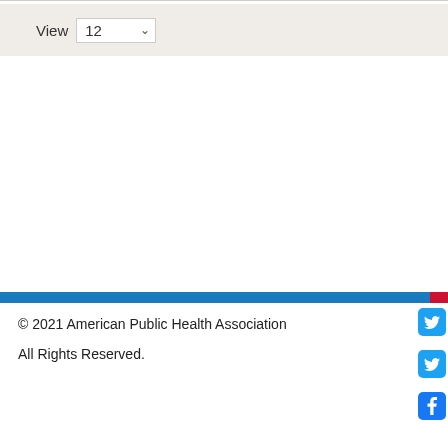View 12
© 2021 American Public Health Association
All Rights Reserved.
The...
AP...
AP...